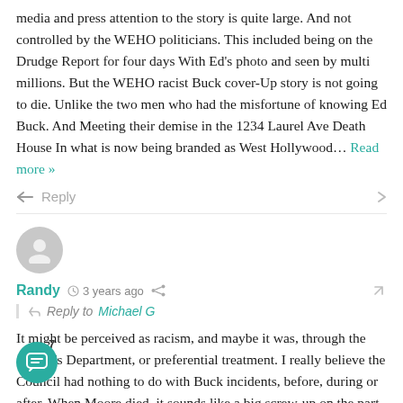media and press attention to the story is quite large. And not controlled by the WEHO politicians. This included being on the Drudge Report for four days With Ed's photo and seen by multi millions. But the WEHO racist Buck cover-Up story is not going to die. Unlike the two men who had the misfortune of knowing Ed Buck. And Meeting their demise in the 1234 Laurel Ave Death House In what is now being branded as West Hollywood… Read more »
Reply
[Figure (illustration): Default user avatar — gray circle with a person silhouette icon]
Randy  3 years ago  Reply to Michael G
It might be perceived as racism, and maybe it was, through the Sheriff's Department, or preferential treatment. I really believe the Council had nothing to do with Buck incidents, before, during or after. When Moore died, it sounds like a big screw-up on the part of the Sheriff's department, by not gathering evidence, and not charging him with drug